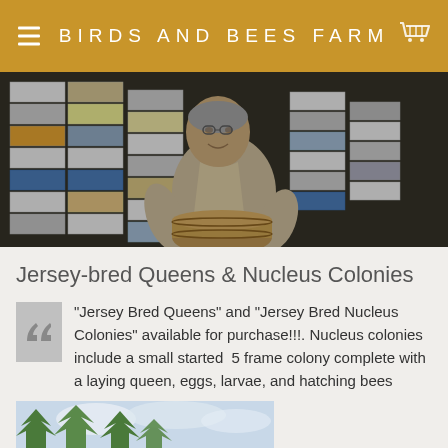BIRDS AND BEES FARM
[Figure (photo): Man smiling standing in front of large stacks of colorful beehive boxes (white, yellow, blue, grey) inside a barn or farm building. He is wearing a light shirt and leaning on something in front of him.]
Jersey-bred Queens & Nucleus Colonies
"Jersey Bred Queens" and "Jersey Bred Nucleus Colonies" available for purchase!!!. Nucleus colonies include a small started  5 frame colony complete with a laying queen, eggs, larvae, and hatching bees
[Figure (photo): Partial bottom image showing trees against a light sky, partially cropped.]